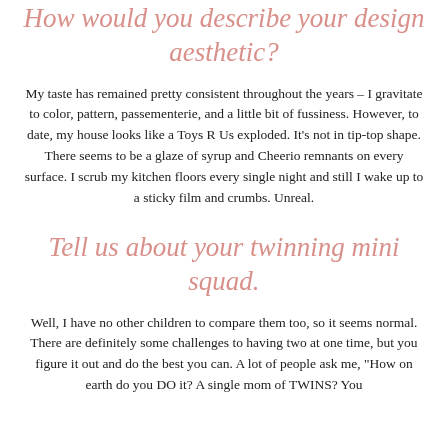How would you describe your design aesthetic?
My taste has remained pretty consistent throughout the years – I gravitate to color, pattern, passementerie, and a little bit of fussiness. However, to date, my house looks like a Toys R Us exploded. It's not in tip-top shape. There seems to be a glaze of syrup and Cheerio remnants on every surface. I scrub my kitchen floors every single night and still I wake up to a sticky film and crumbs. Unreal.
Tell us about your twinning mini squad.
Well, I have no other children to compare them too, so it seems normal. There are definitely some challenges to having two at one time, but you figure it out and do the best you can. A lot of people ask me, "How on earth do you DO it? A single mom of TWINS? You